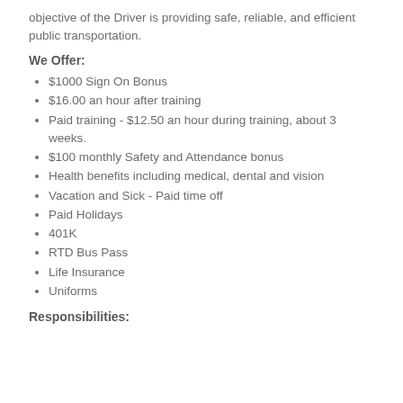objective of the Driver is providing safe, reliable, and efficient public transportation.
We Offer:
$1000 Sign On Bonus
$16.00 an hour after training
Paid training - $12.50 an hour during training, about 3 weeks.
$100 monthly Safety and Attendance bonus
Health benefits including medical, dental and vision
Vacation and Sick - Paid time off
Paid Holidays
401K
RTD Bus Pass
Life Insurance
Uniforms
Responsibilities: